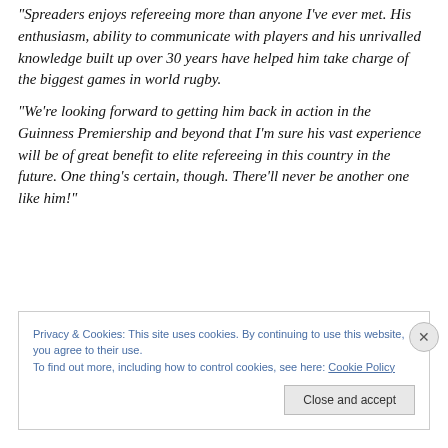“Spreaders enjoys refereeing more than anyone I’ve ever met. His enthusiasm, ability to communicate with players and his unrivalled knowledge built up over 30 years have helped him take charge of the biggest games in world rugby.
“We’re looking forward to getting him back in action in the Guinness Premiership and beyond that I’m sure his vast experience will be of great benefit to elite refereeing in this country in the future. One thing’s certain, though. There’ll never be another one like him!”
Privacy & Cookies: This site uses cookies. By continuing to use this website, you agree to their use. To find out more, including how to control cookies, see here: Cookie Policy